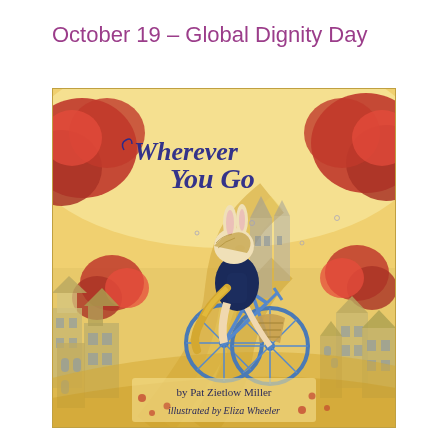October 19 – Global Dignity Day
[Figure (illustration): Book cover of 'Wherever You Go' by Pat Zietlow Miller, illustrated by Eliza Wheeler. A rabbit character wearing a navy coat rides a blue bicycle along a winding golden road through a whimsical town with red balloon-like trees and European-style buildings in the background. The title 'Wherever You Go' is written in large decorative blue script at the top of the cover.]